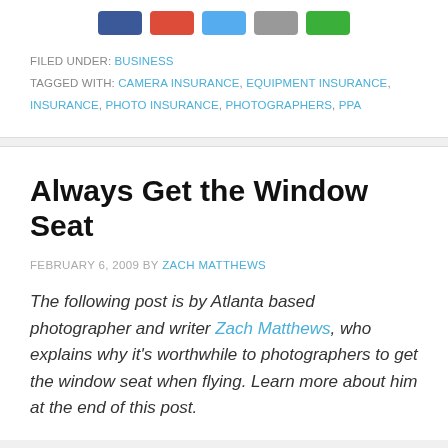[Figure (other): Social share buttons: Facebook (blue), Google+ (red), Twitter (light blue), Email (gray), Pinterest/other (green)]
FILED UNDER: BUSINESS
TAGGED WITH: CAMERA INSURANCE, EQUIPMENT INSURANCE, INSURANCE, PHOTO INSURANCE, PHOTOGRAPHERS, PPA
Always Get the Window Seat
FEBRUARY 6, 2009 BY ZACH MATTHEWS
The following post is by Atlanta based photographer and writer Zach Matthews, who explains why it's worthwhile to photographers to get the window seat when flying. Learn more about him at the end of this post.